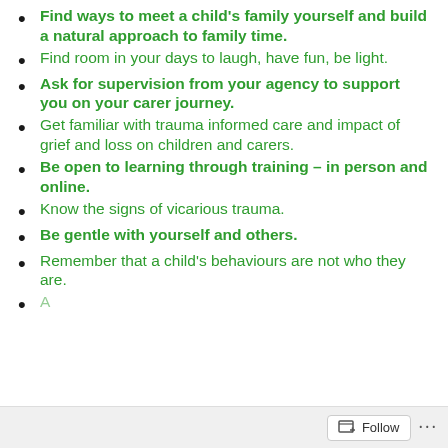Find ways to meet a child's family yourself and build a natural approach to family time.
Find room in your days to laugh, have fun, be light.
Ask for supervision from your agency to support you on your carer journey.
Get familiar with trauma informed care and impact of grief and loss on children and carers.
Be open to learning through training – in person and online.
Know the signs of vicarious trauma.
Be gentle with yourself and others.
Remember that a child's behaviours are not who they are.
(partial item cut off at bottom)
Follow